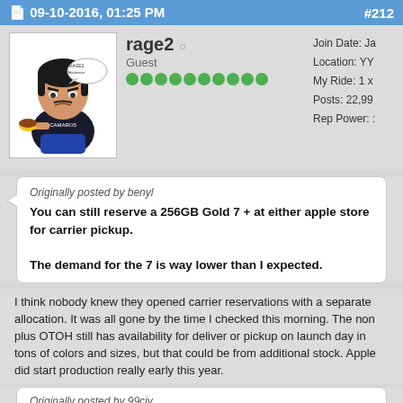09-10-2016, 01:25 PM  #212
[Figure (illustration): Avatar of user rage2: cartoon character with dark hair holding a yellow item, with a speech bubble]
rage2 o
Guest
Join Date: Ja
Location: YY
My Ride: 1 x
Posts: 22,99
Rep Power: :
Originally posted by benyl
You can still reserve a 256GB Gold 7 + at either apple store for carrier pickup.

The demand for the 7 is way lower than I expected.
I think nobody knew they opened carrier reservations with a separate allocation. It was all gone by the time I checked this morning. The non plus OTOH still has availability for deliver or pickup on launch day in tons of colors and sizes, but that could be from additional stock. Apple did start production really early this year.
Originally posted by 99civ
Is it possible to do a carrier specific